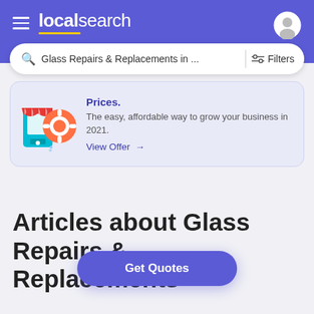localsearch
Glass Repairs & Replacements in ...
Prices. The easy, affordable way to grow your business in 2021. View Offer →
Articles about Glass Repairs & Replacements
Get Quotes